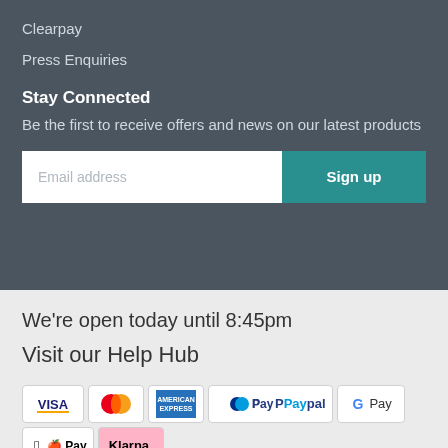Clearpay
Press Enquiries
Stay Connected
Be the first to receive offers and news on our latest products
We're open today until 8:45pm
Visit our Help Hub
[Figure (other): Payment method icons: Visa, Mastercard, American Express, PayPal, Google Pay, Apple Pay, Klarna, Clearpay]